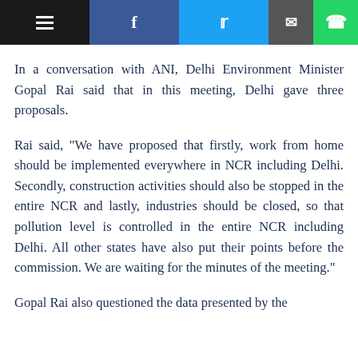[Navigation bar: hamburger menu, Facebook, Twitter, Email, WhatsApp]
In a conversation with ANI, Delhi Environment Minister Gopal Rai said that in this meeting, Delhi gave three proposals.
Rai said, "We have proposed that firstly, work from home should be implemented everywhere in NCR including Delhi. Secondly, construction activities should also be stopped in the entire NCR and lastly, industries should be closed, so that pollution level is controlled in the entire NCR including Delhi. All other states have also put their points before the commission. We are waiting for the minutes of the meeting."
Gopal Rai also questioned the data presented by the